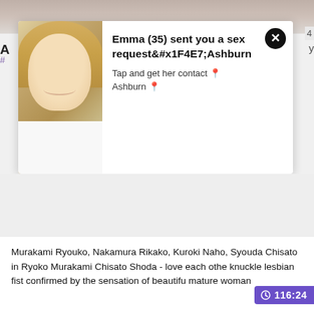[Figure (photo): Top strip showing partial photo of two people]
[Figure (screenshot): Ad notification overlay with photo of blonde woman and text: Emma (35) sent you a sex request Ashburn. Tap and get her contact Ashburn.]
Murakami Ryouko, Nakamura Rikako, Kuroki Naho, Syouda Chisato in Ryoko Murakami Chisato Shoda - love each other knuckle lesbian fist confirmed by the sensation of beautiful mature woman